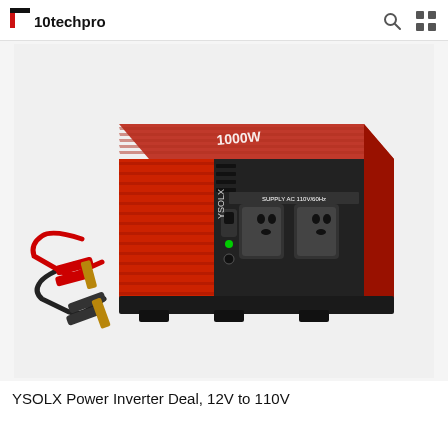10techpro
[Figure (photo): YSOLX 1000W red power inverter with black front panel featuring two AC outlets and a power switch, with red and black battery clamp cables attached on the left side. The red aluminum housing has heat-dissipating ridges on top. The front panel shows 'SUPPLY AC 110V/60Hz' label above the outlets.]
YSOLX Power Inverter Deal, 12V to 110V